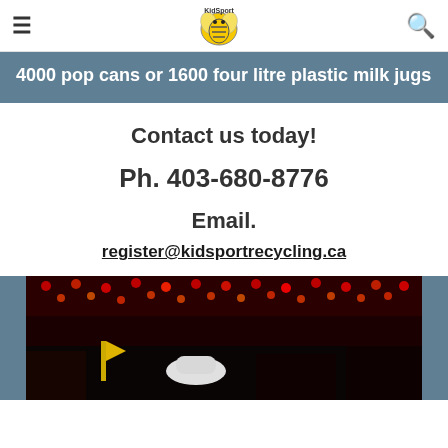Navigation header with hamburger menu, KidSport Recycling logo, and search icon
4000 pop cans or 1600 four litre plastic milk jugs
Contact us today!
Ph. 403-680-8776
Email.
register@kidsportrecycling.ca
[Figure (photo): Concert or event photo showing stage lighting with red and orange lights, people in foreground]